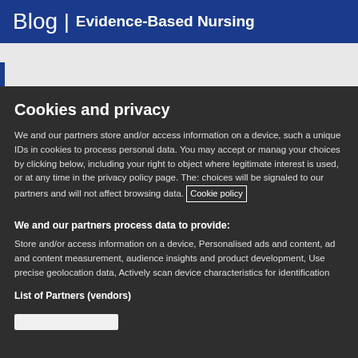Blog | Evidence-Based Nursing
Cookies and privacy
We and our partners store and/or access information on a device, such a unique IDs in cookies to process personal data. You may accept or manage your choices by clicking below, including your right to object where legitimate interest is used, or at any time in the privacy policy page. These choices will be signaled to our partners and will not affect browsing data. Cookie policy
We and our partners process data to provide:
Store and/or access information on a device, Personalised ads and content, ad and content measurement, audience insights and product development, Use precise geolocation data, Actively scan device characteristics for identification
List of Partners (vendors)